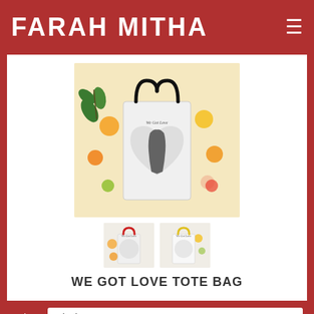FARAH MITHA
[Figure (photo): Product photo of a tote bag called 'We Got Love' with black handles, featuring a heart design with a couple embracing, displayed on a cream/yellow background with decorative fruits and green leaves. Two smaller thumbnail images of alternate colorway versions are shown below.]
WE GOT LOVE TOTE BAG
Color  Black
15 oz Fine...